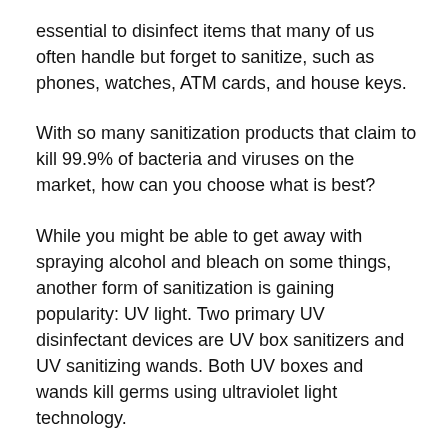essential to disinfect items that many of us often handle but forget to sanitize, such as phones, watches, ATM cards, and house keys.
With so many sanitization products that claim to kill 99.9% of bacteria and viruses on the market, how can you choose what is best?
While you might be able to get away with spraying alcohol and bleach on some things, another form of sanitization is gaining popularity: UV light. Two primary UV disinfectant devices are UV box sanitizers and UV sanitizing wands. Both UV boxes and wands kill germs using ultraviolet light technology.
Here's a comparison of UV wands vs. Puritize brand UV sanitizing boxes to see which device can disinfect surfaces most effectively. Before contrasting UV cleaners, take a look at how UV light works.